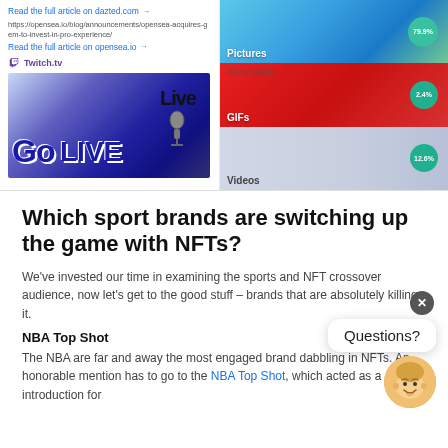[Figure (screenshot): Left column screenshot showing a link 'Read the full article on dazted.com', a URL block for opensea.io blog, another read link for opensea.io, Twitch.tv logo, and a Live GoFITE partial image below.]
[Figure (infographic): Right column showing three stacked image tiles: 'Pictures' tile with 79.9% bubble, 'GIFs' tile (red/Bloomberg) with 2.4% bubble, and 'Videos' tile with 12.6% bubble.]
Which sport brands are switching up the game with NFTs?
We've invested our time in examining the sports and NFT crossover audience, now let's get to the good stuff – brands that are absolutely killing it.
NBA Top Shot
The NBA are far and away the most engaged brand dabbling in NFTs. An honorable mention has to go to the NBA Top Shot, which acted as a gentle introduction for